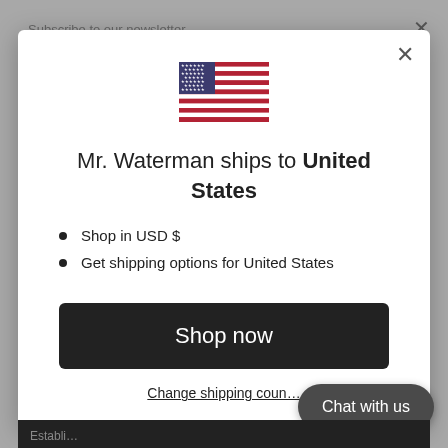Subscribe to our newsletter
[Figure (illustration): US flag icon displayed in the modal dialog]
Mr. Waterman ships to United States
Shop in USD $
Get shipping options for United States
Shop now
Change shipping country
Chat with us